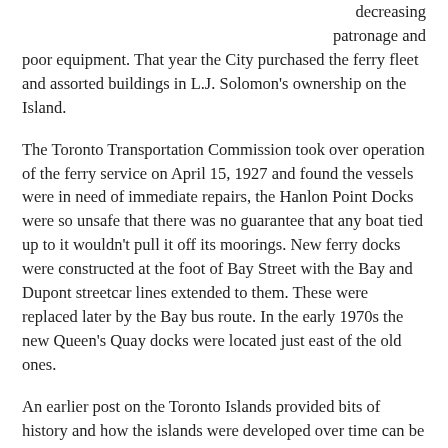decreasing patronage and poor equipment. That year the City purchased the ferry fleet and assorted buildings in L.J. Solomon's ownership on the Island.
The Toronto Transportation Commission took over operation of the ferry service on April 15, 1927 and found the vessels were in need of immediate repairs, the Hanlon Point Docks were so unsafe that there was no guarantee that any boat tied up to it wouldn't pull it off its moorings. New ferry docks were constructed at the foot of Bay Street with the Bay and Dupont streetcar lines extended to them. These were replaced later by the Bay bus route. In the early 1970s the new Queen's Quay docks were located just east of the old ones.
An earlier post on the Toronto Islands provided bits of history and how the islands were developed over time can be seen here.
Photos and further information on the ferry service and the boats can be seen in the links listed in the sources.